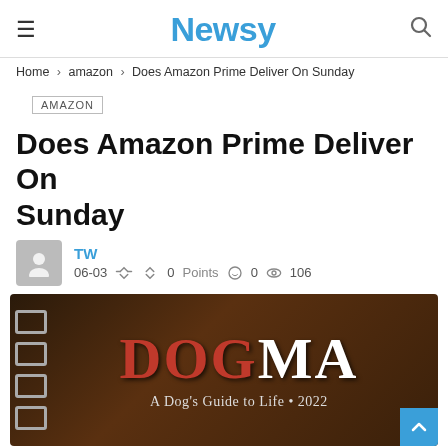Newsy
Home > amazon > Does Amazon Prime Deliver On Sunday
AMAZON
Does Amazon Prime Deliver On Sunday
TW
06-03  👍 👎 0 Points  💬 0  👁 106
[Figure (photo): Book cover image showing 'DOGMA: A Dog's Guide to Life • 2022' with red and white text on a dark brown background with ring binder on the left side]